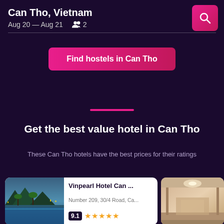Can Tho, Vietnam
Aug 20 — Aug 21   🧑 2
Find hostels in Can Tho
Get the best value hotel in Can Tho
These Can Tho hotels have the best prices for their ratings
[Figure (photo): Hotel card for Vinpearl Hotel Can Tho showing exterior/pool view photo, address Number 209, 30/4 Road, Ca..., rating 9.1 with 4.5 stars]
[Figure (photo): Partial hotel card showing interior lobby photo]